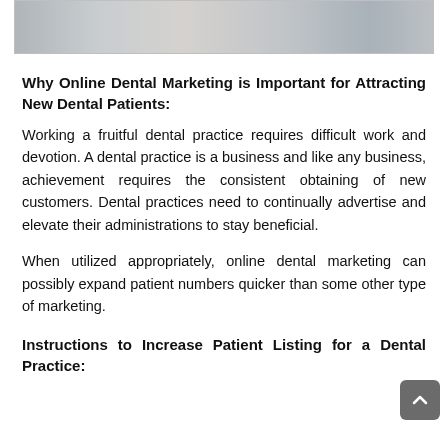[Figure (photo): Partial view of a dental office scene cropped at the top of the page]
Why Online Dental Marketing is Important for Attracting New Dental Patients:
Working a fruitful dental practice requires difficult work and devotion. A dental practice is a business and like any business, achievement requires the consistent obtaining of new customers. Dental practices need to continually advertise and elevate their administrations to stay beneficial.
When utilized appropriately, online dental marketing can possibly expand patient numbers quicker than some other type of marketing.
Instructions to Increase Patient Listing for a Dental Practice: